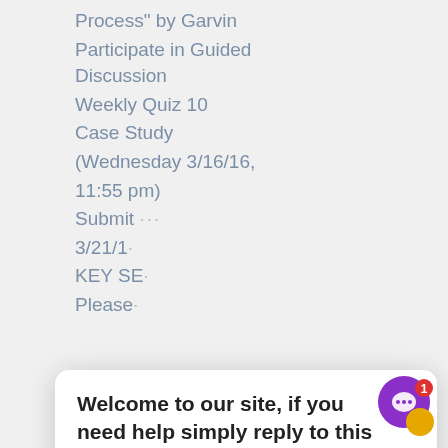Process" by Garvin
Participate in Guided Discussion
Weekly Quiz 10
Case Study (Wednesday 3/16/16, 11:55 pm)
Submit [partially obscured] 3/21/1[obscured]
KEY SE[obscured]
Please [obscured]
[Figure (screenshot): Chat popup overlay with message: 'Welcome to our site, if you need help simply reply to this message, we are online and ready to help.' From Customer Support, just now. Has a close (X) button and a user avatar icon.]
STATEMENT REGARDING PROFESSIONAL CONDUCT
Walsh College students are expected to conduct themselves in a manner that is conducive to continued growth toward a business and/or professional